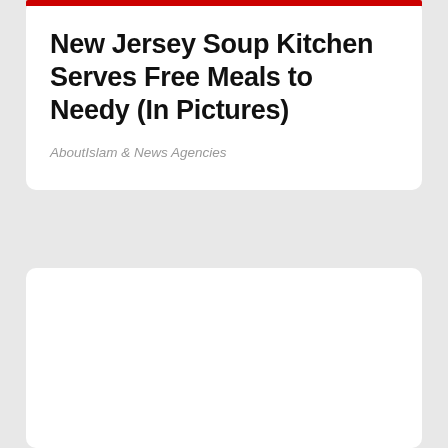New Jersey Soup Kitchen Serves Free Meals to Needy (In Pictures)
AboutIslam & News Agencies
[Figure (other): Empty white card, second content block below the article header]